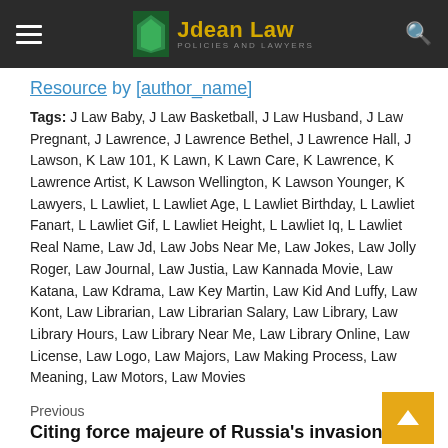Jdean Law – Policies and Lawyers
Resource by [author_name]
Tags: J Law Baby, J Law Basketball, J Law Husband, J Law Pregnant, J Lawrence, J Lawrence Bethel, J Lawrence Hall, J Lawson, K Law 101, K Lawn, K Lawn Care, K Lawrence, K Lawrence Artist, K Lawson Wellington, K Lawson Younger, K Lawyers, L Lawliet, L Lawliet Age, L Lawliet Birthday, L Lawliet Fanart, L Lawliet Gif, L Lawliet Height, L Lawliet Iq, L Lawliet Real Name, Law Jd, Law Jobs Near Me, Law Jokes, Law Jolly Roger, Law Journal, Law Justia, Law Kannada Movie, Law Katana, Law Kdrama, Law Key Martin, Law Kid And Luffy, Law Kont, Law Librarian, Law Librarian Salary, Law Library, Law Library Hours, Law Library Near Me, Law Library Online, Law License, Law Logo, Law Majors, Law Making Process, Law Meaning, Law Motors, Law Movies
Previous
Citing force majeure of Russia's invasion, Ukraine turns